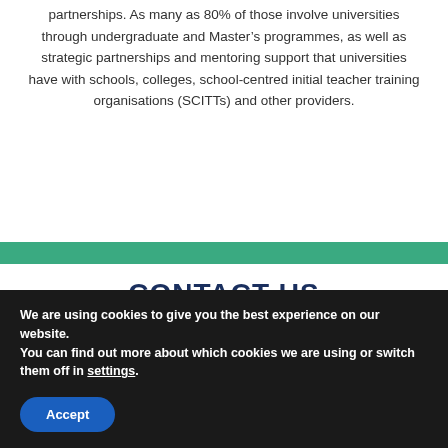partnerships. As many as 80% of those involve universities through undergraduate and Master's programmes, as well as strategic partnerships and mentoring support that universities have with schools, colleges, school-centred initial teacher training organisations (SCITTs) and other providers.
CONTACT US
We are using cookies to give you the best experience on our website.
You can find out more about which cookies we are using or switch them off in settings.
Accept